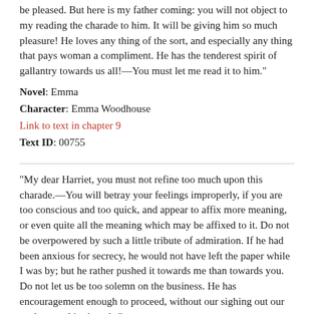be pleased. But here is my father coming: you will not object to my reading the charade to him. It will be giving him so much pleasure! He loves any thing of the sort, and especially any thing that pays woman a compliment. He has the tenderest spirit of gallantry towards us all!—You must let me read it to him."
Novel: Emma
Character: Emma Woodhouse
Link to text in chapter 9
Text ID: 00755
"My dear Harriet, you must not refine too much upon this charade.—You will betray your feelings improperly, if you are too conscious and too quick, and appear to affix more meaning, or even quite all the meaning which may be affixed to it. Do not be overpowered by such a little tribute of admiration. If he had been anxious for secrecy, he would not have left the paper while I was by; but he rather pushed it towards me than towards you. Do not let us be too solemn on the business. He has encouragement enough to proceed, without our sighing out our souls over this charade."
Novel: Emma